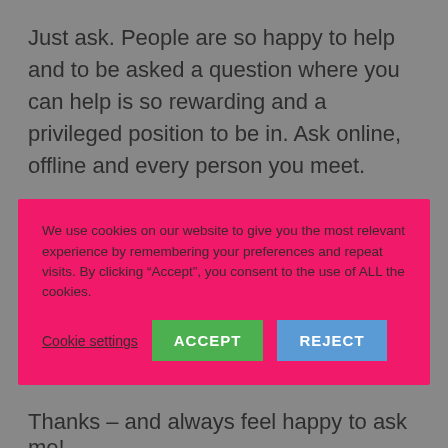Just ask. People are so happy to help and to be asked a question where you can help is so rewarding and a privileged position to be in. Ask online, offline and every person you meet.
We use cookies on our website to give you the most relevant experience by remembering your preferences and repeat visits. By clicking “Accept”, you consent to the use of ALL the cookies.
Cookie settings   ACCEPT   REJECT
Thanks – and always feel happy to ask me!
[Figure (illustration): Handwritten signature reading 'Michelle' with a small hand/wave icon in dark pink/maroon to the left]